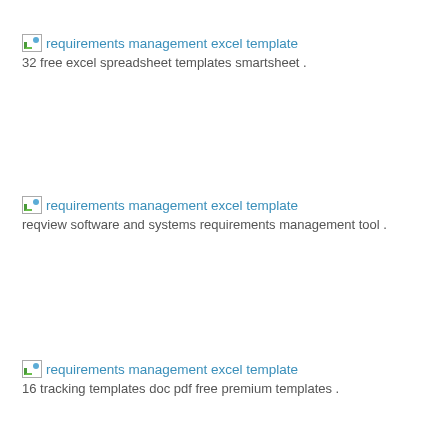requirements management excel template
32 free excel spreadsheet templates smartsheet .
requirements management excel template
reqview software and systems requirements management tool .
requirements management excel template
16 tracking templates doc pdf free premium templates .